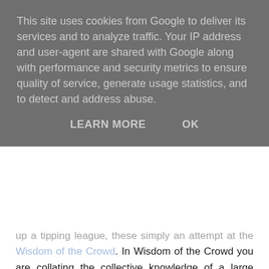This site uses cookies from Google to deliver its services and to analyze traffic. Your IP address and user-agent are shared with Google along with performance and security metrics to ensure quality of service, generate usage statistics, and to detect and address abuse.
LEARN MORE    OK
up a tipping league, these simply an attempt at the Wisdom of the Crowd. In Wisdom of the Crowd you are collating the collective knowledge of a large number of people (the league members) to determine an average value, which will in turn give you probabilities.
For example, a village fete has a Guess the Number of Sweets in the Jar competition. What is the best way to win the competition? Simply, wait until the last moment and find the average value given by all the previous entrants and that is your value. You could well have the closest guess. A single person will probably make a bad guess but the wisdom of the crowd will find the correct value. That's precisely how betting markets work. Each person places their bet at a price that they think accurately represents the